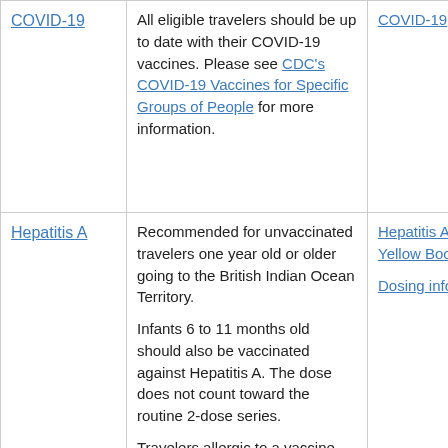| Vaccine | Recommendation | Resources |
| --- | --- | --- |
| COVID-19 | All eligible travelers should be up to date with their COVID-19 vaccines. Please see CDC's COVID-19 Vaccines for Specific Groups of People for more information. | COVID-19 |
| Hepatitis A | Recommended for unvaccinated travelers one year old or older going to the British Indian Ocean Territory.

Infants 6 to 11 months old should also be vaccinated against Hepatitis A. The dose does not count toward the routine 2-dose series.

Travelers allergic to a vaccine component or | Hepatitis A (CDC Yellow Book)

Dosing info |